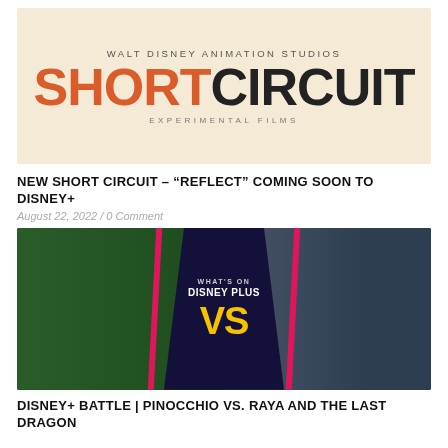[Figure (illustration): Walt Disney Animation Studios Short Circuit Experimental Films logo on a beige/cream background. 'SHORT' in orange and 'CIRCUIT' in black, large bold letters. Above: 'WALT DISNEY ANIMATION STUDIOS' in small caps. Below: 'EXPERIMENTAL FILMS' in small spaced letters.]
NEW SHORT CIRCUIT – “REFLECT” COMING SOON TO DISNEY+
August 22, 2022 / 0 Comment
[Figure (illustration): Split image with Pinocchio character on the left and Raya character on the right, with a dark center panel showing 'WHAT'S ON DISNEY PLUS' and 'VS' in large yellow letters with pink accent stripes.]
DISNEY+ BATTLE | PINOCCHIO VS. RAYA AND THE LAST DRAGON